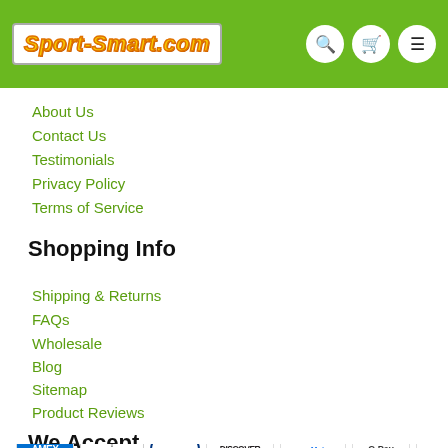Sport-Smart.com
About Us
Contact Us
Testimonials
Privacy Policy
Terms of Service
Shopping Info
Shipping & Returns
FAQs
Wholesale
Blog
Sitemap
Product Reviews
We Accept
[Figure (other): Payment method icons: AMEX, Apple Pay, Diners, Discover, Meta, Google Pay, Mastercard, PayPal]